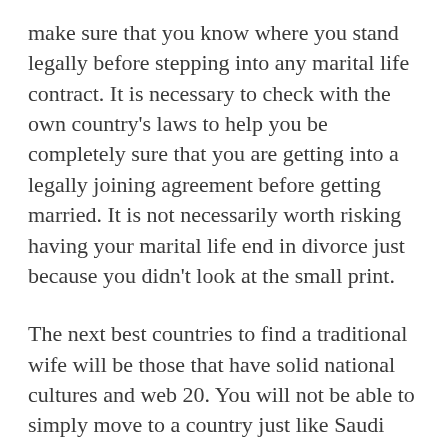make sure that you know where you stand legally before stepping into any marital life contract. It is necessary to check with the own country's laws to help you be completely sure that you are getting into a legally joining agreement before getting married. It is not necessarily worth risking having your marital life end in divorce just because you didn't look at the small print.
The next best countries to find a traditional wife will be those that have solid national cultures and web 20. You will not be able to simply move to a country just like Saudi Arabia and expect to fall in love with local ladies. A big part of being a wife in a classic community means finding prevalent ground and making it simple for your husband and other paid members within the community to respect your decisions to be a wife. While you should consider your unique happiness over anyone else's, you also